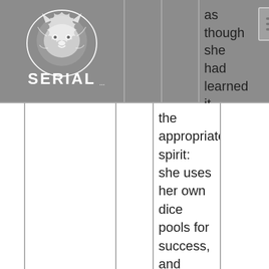[Figure (logo): SERIAL logo with lion graphic — white lion illustration above the text SERIAL in stylized white letters on grey background]
as though she had learned it herself from the appropriate spirit: she uses her own dice pools for success, and spends her own Gnosis, Rage, or Willpower to activate it. A Black Fury can only lend one Gift out at a time, although there is no limit to the